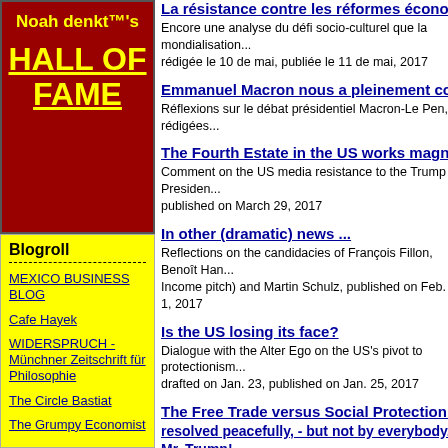Noah denkt™'s HALL OF FAME
Blogroll
MEXICO BUSINESS BLOG
Cafe Hayek
WIDERSPRUCH - Münchner Zeitschrift für Philosophie
The Circle Bastiat
The Grumpy Economist
La résistance contre les réformes économiq... Encore une analyse du défi socio-culturel que la mondialisation... rédigée le 10 de mai, publiée le 11 de mai, 2017
Emmanuel Macron nous a pleinement conv... Réflexions sur le débat présidentiel Macron-Le Pen, rédigées...
The Fourth Estate in the US works magnific... Comment on the US media resistance to the Trump Presiden... published on March 29, 2017
In other (dramatic) news ... Reflections on the candidacies of François Fillon, Benoît Han... Income pitch) and Martin Schulz, published on Feb. 1, 2017
Is the US losing its face? Dialogue with the Alter Ego on the US's pivot to protectionism... drafted on Jan. 23, published on Jan. 25, 2017
The Free Trade versus Social Protection Co... resolved peacefully, - but not by everybody... Mr. Trump! A look back and a look forward to 2017 and beyond, published...
Will the US under President Trump change... Comment on the post-election gloom that had befallen us, fin... published on Dec. 15, 2016
The new UK Brexit cabinet looks good, - bu... world one can only hope it will fail Observation on Theresa May's new UK government, published...